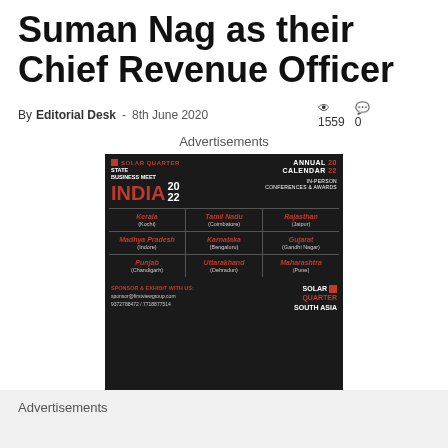Suman Nag as their Chief Revenue Officer
By Editorial Desk - 8th June 2020   1559  0
Advertisements
[Figure (illustration): Solar Quarter State Business Meet India 2022 Annual Calendar advertisement banner showing a grid of Indian states with venue cities: Kerala (Kochi), Tamil Nadu (Coimbatore), Rajasthan (Jaipur), Madhya Pradesh (Indore), Karnataka (Bengaluru), Gujarat (Gandhi Nagar), Punjab (Chandigarh), Uttarakhand (Dehradun), Maharashtra (Pune). Footer shows sponsor contact details and Solar Quarter South Asia logo.]
Advertisements